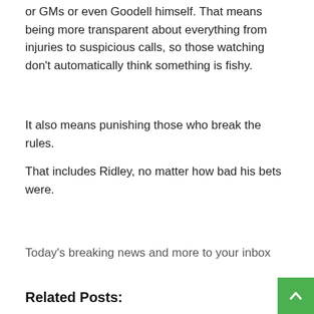or GMs or even Goodell himself. That means being more transparent about everything from injuries to suspicious calls, so those watching don't automatically think something is fishy.
It also means punishing those who break the rules.
That includes Ridley, no matter how bad his bets were.
Today's breaking news and more to your inbox
Related Posts: